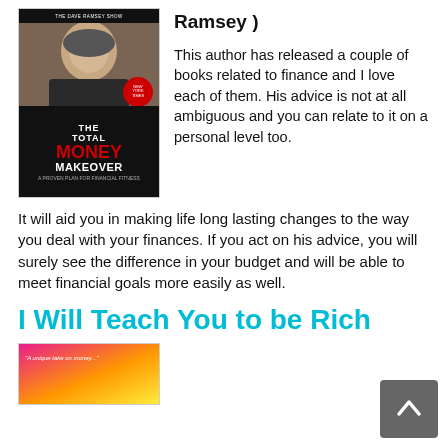[Figure (photo): Book cover: The Total Money Makeover by Dave Ramsey, showing the author's photo and book title]
Ramsey )
This author has released a couple of books related to finance and I love each of them. His advice is not at all ambiguous and you can relate to it on a personal level too.
It will aid you in making life long lasting changes to the way you deal with your finances. If you act on his advice, you will surely see the difference in your budget and will be able to meet financial goals more easily as well.
I Will Teach You to be Rich
[Figure (photo): Book cover: I Will Teach You to be Rich, colorful cover with pink, orange and yellow colors]